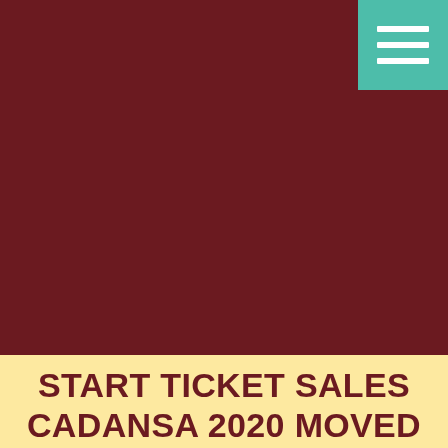[Figure (other): Large dark red/maroon background area occupying the upper three-quarters of the page, with a teal/green hamburger menu icon in the top-right corner]
START TICKET SALES CADANSA 2020 MOVED